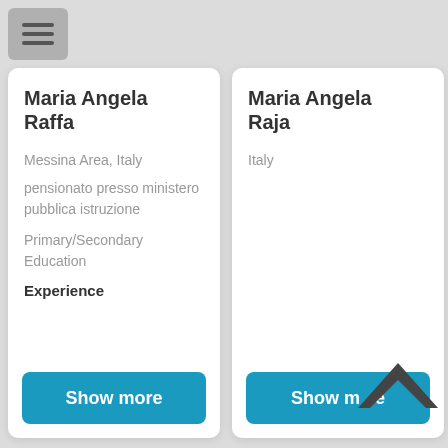[Figure (other): Hamburger menu button icon with three horizontal lines on a gray rounded rectangle background]
Maria Angela Raffa
Messina Area, Italy
pensionato presso ministero pubblica istruzione
Primary/Secondary Education
Experience
Show more
Maria Angela Raja
Italy
Show more